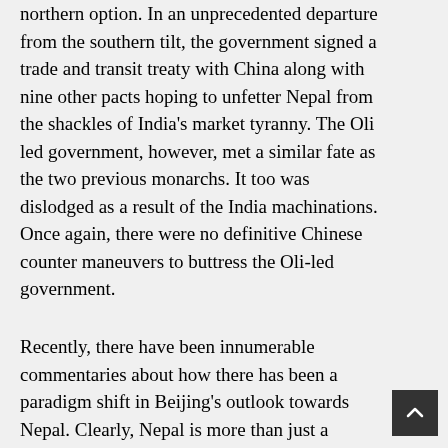northern option. In an unprecedented departure from the southern tilt, the government signed a trade and transit treaty with China along with nine other pacts hoping to unfetter Nepal from the shackles of India's market tyranny. The Oli led government, however, met a similar fate as the two previous monarchs. It too was dislodged as a result of the India machinations. Once again, there were no definitive Chinese counter maneuvers to buttress the Oli-led government.
Recently, there have been innumerable commentaries about how there has been a paradigm shift in Beijing's outlook towards Nepal. Clearly, Nepal is more than just a neighbor in the Chinese geopolitical thought. Its overtures and activities are beginning to attest to that. Following the trade and transit treaty and